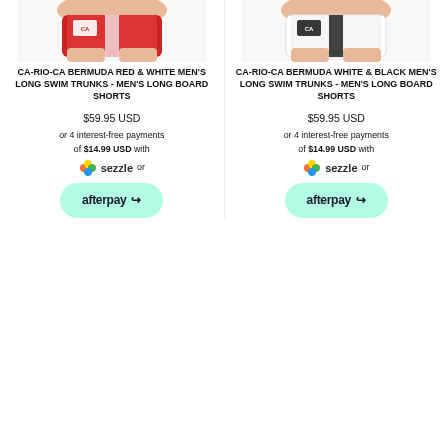[Figure (photo): Red and white men's swim trunks product photo, partial view showing lower body]
CA-RIO-CA BERMUDA RED & WHITE MEN'S LONG SWIM TRUNKS - MEN'S LONG BOARD SHORTS
$59.95 USD
or 4 interest-free payments of $14.99 USD with Sezzle or afterpay
[Figure (photo): White and black men's swim trunks product photo, partial view showing lower body]
CA-RIO-CA BERMUDA WHITE & BLACK MEN'S LONG SWIM TRUNKS - MEN'S LONG BOARD SHORTS
$59.95 USD
or 4 interest-free payments of $14.99 USD with Sezzle or afterpay